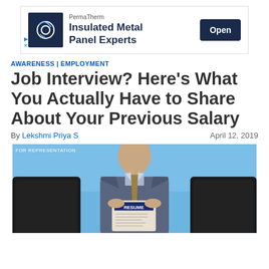[Figure (screenshot): Advertisement for PermaTherm Insulated Metal Panel Experts with dark navy logo, brand name, headline, and Open button]
AWARENESS | EMPLOYMENT
Job Interview? Here’s What You Actually Have to Share About Your Previous Salary
By Lekshmi Priya S    April 12, 2019
[Figure (photo): Man in suit sitting between black chairs holding a RESUME document, blue background, cropped from chest]